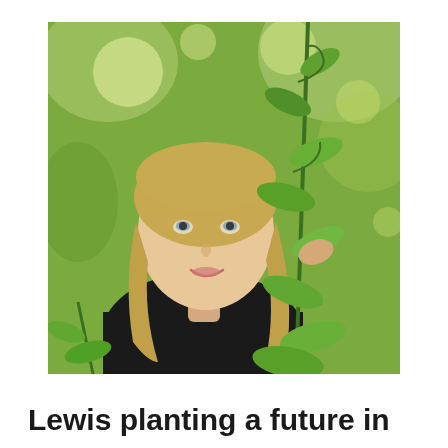[Figure (photo): A young woman with long blonde hair wearing a black top, standing outdoors among green plant stems and leaves with a blurred green tree background, looking upward with a slight smile.]
Lewis planting a future in